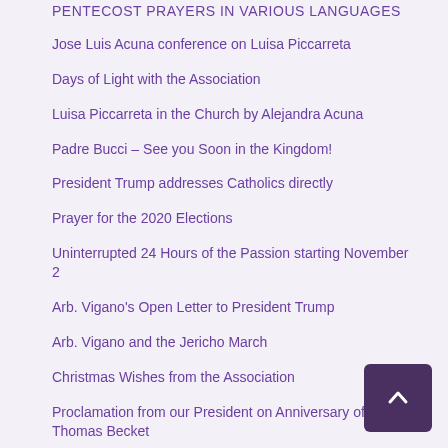PENTECOST PRAYERS IN VARIOUS LANGUAGES
Jose Luis Acuna conference on Luisa Piccarreta
Days of Light with the Association
Luisa Piccarreta in the Church by Alejandra Acuna
Padre Bucci – See you Soon in the Kingdom!
President Trump addresses Catholics directly
Prayer for the 2020 Elections
Uninterrupted 24 Hours of the Passion starting November 2
Arb. Vigano's Open Letter to President Trump
Arb. Vigano and the Jericho March
Christmas Wishes from the Association
Proclamation from our President on Anniversary of St. Thomas Becket
Day of Prayer for Legal Protection of Unborn Children
Prophecy of Fr. Joseph Ratzinger